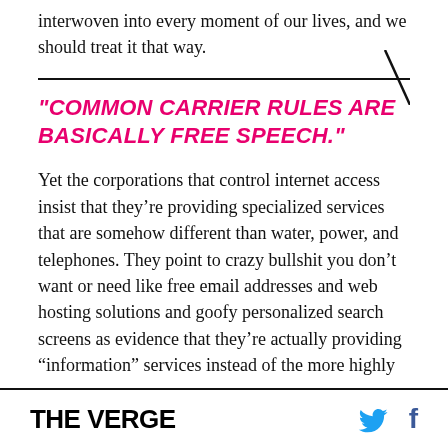interwoven into every moment of our lives, and we should treat it that way.
"COMMON CARRIER RULES ARE BASICALLY FREE SPEECH."
Yet the corporations that control internet access insist that they're providing specialized services that are somehow different than water, power, and telephones. They point to crazy bullshit you don't want or need like free email addresses and web hosting solutions and goofy personalized search screens as evidence that they're actually providing "information" services instead of the more highly
THE VERGE